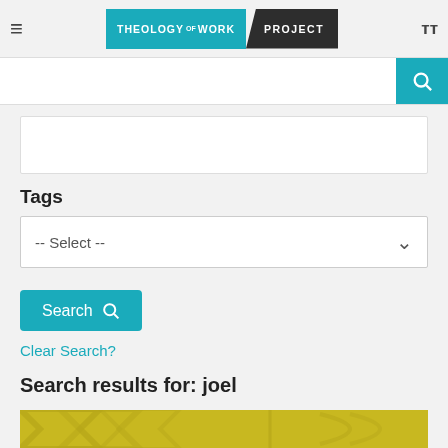Theology of Work Project
Tags
-- Select --
Search
Clear Search?
Search results for: joel
[Figure (illustration): Yellow/olive patterned decorative background image for a search result card]